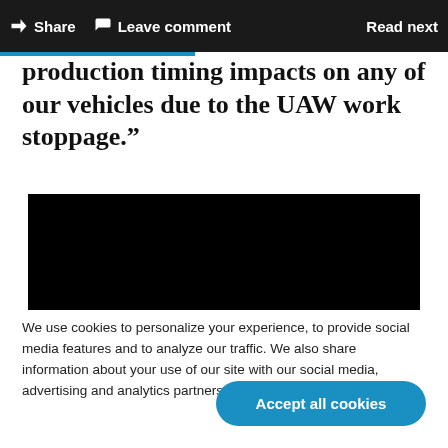Share  Leave comment  Read next
production timing impacts on any of our vehicles due to the UAW work stoppage.”
[Figure (photo): Black image/video placeholder]
We use cookies to personalize your experience, to provide social media features and to analyze our traffic. We also share information about your use of our site with our social media, advertising and analytics partners. Cookie Settings
Accept all cookies